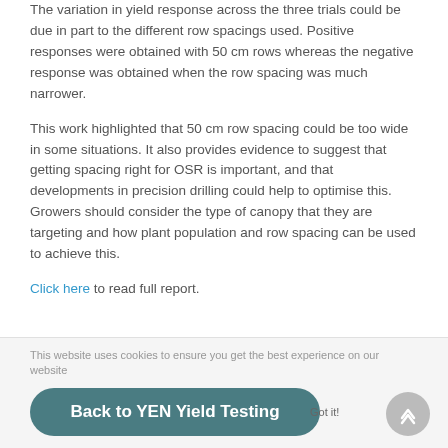The variation in yield response across the three trials could be due in part to the different row spacings used. Positive responses were obtained with 50 cm rows whereas the negative response was obtained when the row spacing was much narrower.
This work highlighted that 50 cm row spacing could be too wide in some situations. It also provides evidence to suggest that getting spacing right for OSR is important, and that developments in precision drilling could help to optimise this. Growers should consider the type of canopy that they are targeting and how plant population and row spacing can be used to achieve this.
Click here to read full report.
This website uses cookies to ensure you get the best experience on our website
Back to YEN Yield Testing
Got it!